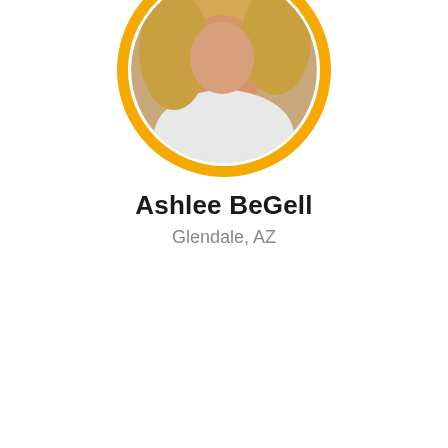[Figure (photo): Circular profile photo of Ashlee BeGell with a golden/amber colored circular border. The photo shows a person with blonde hair wearing a white top, cropped at the top of the page.]
Ashlee BeGell
Glendale, AZ